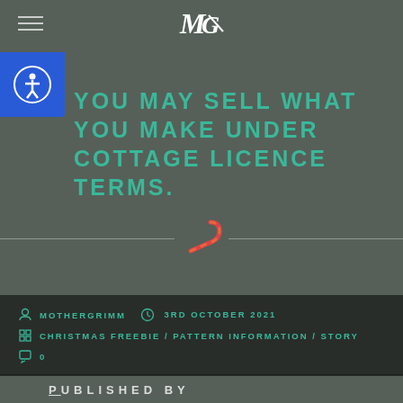MG logo / hamburger menu
[Figure (logo): Stylized MG monogram logo in white]
YOU MAY SELL WHAT YOU MAKE UNDER COTTAGE LICENCE TERMS.
[Figure (illustration): Red candy cane divider decoration]
MOTHERGRIMM   3RD OCTOBER 2021   CHRISTMAS FREEBIE / PATTERN INFORMATION / STORY   0
PUBLISHED BY